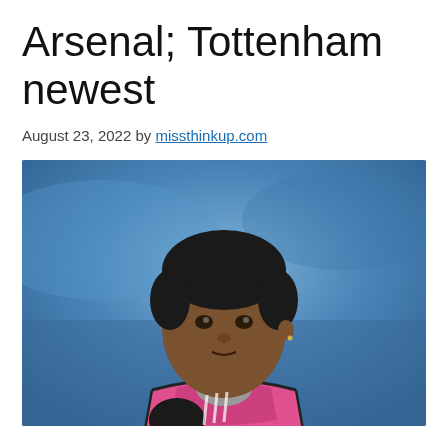Arsenal; Tottenham newest
August 23, 2022 by missthinkup.com
[Figure (photo): Young male footballer wearing a pink bib over a grey zip-up top and black gloves, photographed from the chest up with a blurred blue stadium background.]